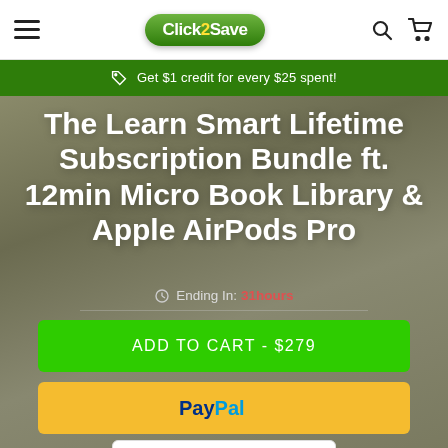Click2Save — navigation header with hamburger menu, logo, search and cart icons
Get $1 credit for every $25 spent!
The Learn Smart Lifetime Subscription Bundle ft. 12min Micro Book Library & Apple AirPods Pro
Ending In: 31 hours
ADD TO CART - $279
PayPal
1